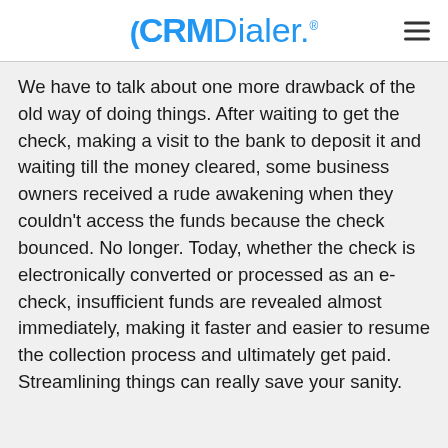CRM Dialer.
We have to talk about one more drawback of the old way of doing things. After waiting to get the check, making a visit to the bank to deposit it and waiting till the money cleared, some business owners received a rude awakening when they couldn’t access the funds because the check bounced. No longer. Today, whether the check is electronically converted or processed as an e-check, insufficient funds are revealed almost immediately, making it faster and easier to resume the collection process and ultimately get paid. Streamlining things can really save your sanity.